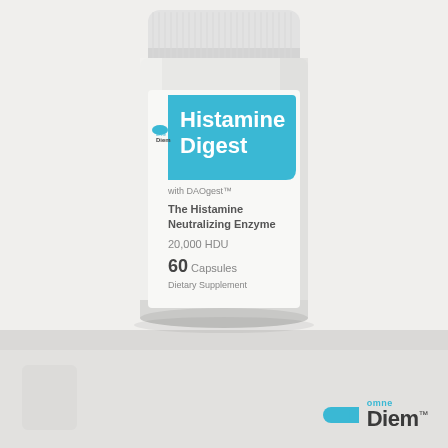[Figure (photo): Product photo of Omne Diem Histamine Digest supplement bottle. White cylindrical jar with white cap. Label shows cyan/teal blue banner with white text 'Histamine Digest', small Omne Diem logo on left side of label, text 'with DAOgest™', 'The Histamine Neutralizing Enzyme', '20,000 HDU', '60 Capsules', 'Dietary Supplement'. Bottle sits on light gray surface.]
[Figure (logo): Omne Diem logo in bottom right: cyan pill/capsule icon followed by 'Diem' in dark charcoal with 'omne' in cyan above, and trademark symbol.]